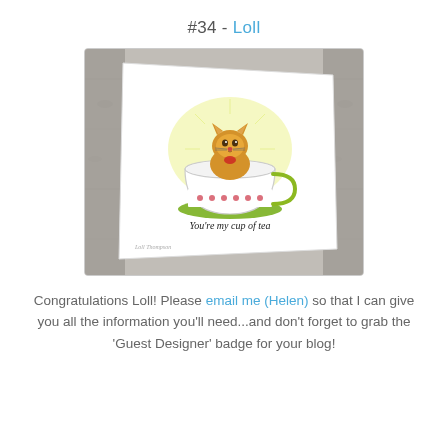#34 - Loll
[Figure (photo): A handmade greeting card featuring a cute cat sitting inside a decorative teacup with floral pattern, on a green saucer, with yellow background glow. Text on card reads 'You're my cup of tea'. Card is propped against a birch wood background.]
Congratulations Loll! Please email me (Helen) so that I can give you all the information you'll need...and don't forget to grab the 'Guest Designer' badge for your blog!